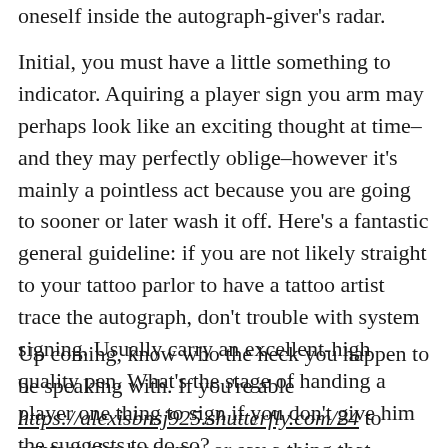oneself inside the autograph-giver's radar.
Initial, you must have a little something to indicator. Aquiring a player sign you arm may perhaps look like an exciting thought at time–and they may perfectly oblige–however it's mainly a pointless act because you are going to sooner or later wash it off. Here's a fantastic general guideline: if you are not likely straight to your tattoo parlor to have a tattoo artist trace the autograph, don't trouble with system signing. Usually carry an excellent-high quality pen. What's the stage of handing a player one thing to sign if you don't give him the suggests to do so?
Up coming, know who the heck you happen to be speaking with. If you're able https://alexisbnsj925.shutterfly.com/24 to contact him by name, or say a thing that exhibits you've got taken an fascination in him, he will take a look at